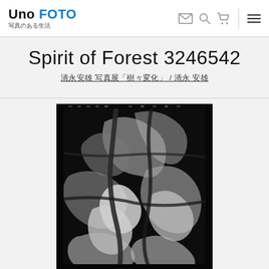Uno FOTO 写真のある生活
Spirit of Forest 3246542
清永安雄 写真展「樹々変化」 / 清永 安雄
[Figure (photo): Black and white fine art photograph showing abstract forest imagery with high contrast, crumpled or distorted organic forms resembling trees, leaves, and natural textures against dark background]